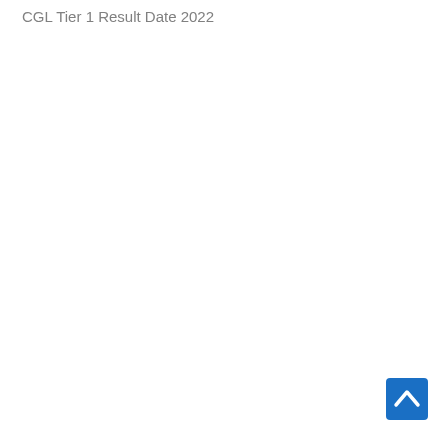CGL Tier 1 Result Date 2022
[Figure (other): Back to top button — blue rounded square with upward chevron arrow icon, positioned at bottom right of page]